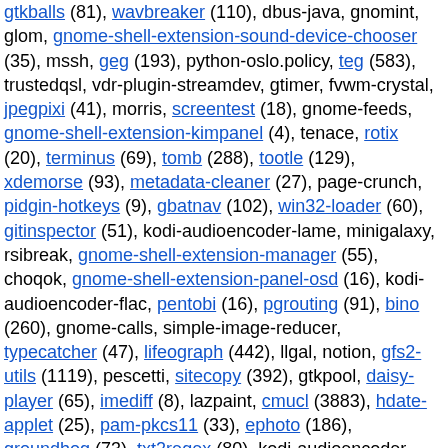gtkballs (81), wavbreaker (110), dbus-java, gnomint, glom, gnome-shell-extension-sound-device-chooser (35), mssh, geg (193), python-oslo.policy, teg (583), trustedqsl, vdr-plugin-streamdev, gtimer, fvwm-crystal, jpegpixi (41), morris, screentest (18), gnome-feeds, gnome-shell-extension-kimpanel (4), tenace, rotix (20), terminus (69), tomb (288), tootle (129), xdemorse (93), metadata-cleaner (27), page-crunch, pidgin-hotkeys (9), gbatnav (102), win32-loader (60), gitinspector (51), kodi-audioencoder-lame, minigalaxy, rsibreak, gnome-shell-extension-manager (55), choqok, gnome-shell-extension-panel-osd (16), kodi-audioencoder-flac, pentobi (16), pgrouting (91), bino (260), gnome-calls, simple-image-reducer, typecatcher (47), lifeograph (442), llgal, notion, gfs2-utils (1119), pescetti, sitecopy (392), gtkpool, daisy-player (65), imediff (8), lazpaint, cmucl (3883), hdate-applet (25), pam-pkcs11 (33), ephoto (186), groundhog (73), txt2regex (80), kodi-audioencoder-vorbis, music123 (20), ogamesim (52), songwrite, kodi-vfs-libarchive, lifelines (1175), python-oslo.middleware, gnome-shell-extension-desktop-